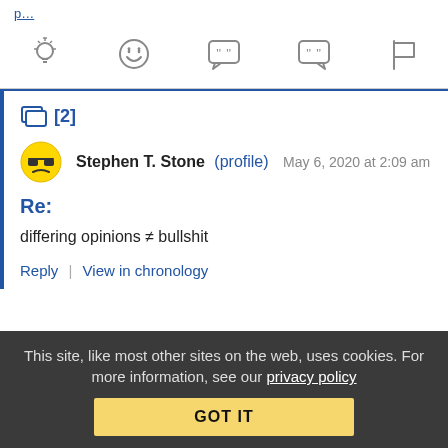[icons: lightbulb, laugh, left-quote, right-quote, flag]
[2]
Stephen T. Stone (profile) May 6, 2020 at 2:09 am
Re:
differing opinions ≠ bullshit
Reply | View in chronology
This site, like most other sites on the web, uses cookies. For more information, see our privacy policy
GOT IT